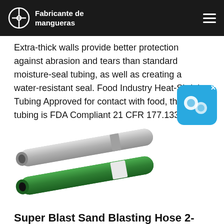Fabricante de mangueras
Extra-thick walls provide better protection against abrasion and tears than standard moisture-seal tubing, as well as creating a water-resistant seal. Food Industry Heat-Shrink Tubing Approved for contact with food, this tubing is FDA Compliant 21 CFR 177.1330.
[Figure (photo): Two hoses shown diagonally — one grey/silver heat-shrink tube and one green sand blasting hose, both shown at an angle with tubing cross-sections visible.]
Super Blast Sand Blasting Hose 2-PLY & 4-PLY - JYM